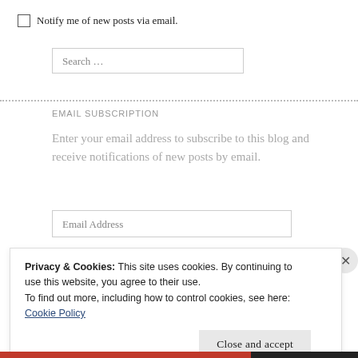Notify me of new posts via email.
Search …
EMAIL SUBSCRIPTION
Enter your email address to subscribe to this blog and receive notifications of new posts by email.
Email Address
Privacy & Cookies: This site uses cookies. By continuing to use this website, you agree to their use.
To find out more, including how to control cookies, see here: Cookie Policy
Close and accept